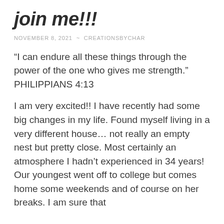join me!!!
NOVEMBER 8, 2021 ~ CREATIONSBYCHAR
“I can endure all these things through the power of the one who gives me strength.” PHILIPPIANS 4:13
I am very excited!! I have recently had some big changes in my life. Found myself living in a very different house… not really an empty nest but pretty close. Most certainly an atmosphere I hadn’t experienced in 34 years! Our youngest went off to college but comes home some weekends and of course on her breaks. I am sure that